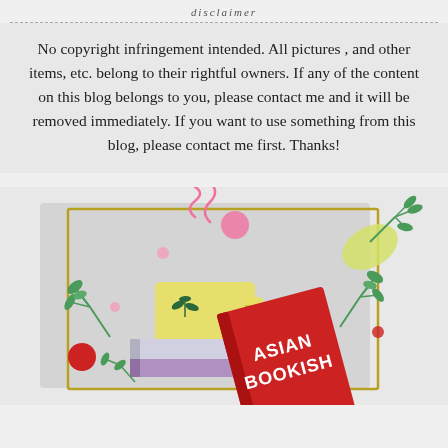disclaimer
No copyright infringement intended. All pictures , and other items, etc. belong to their rightful owners. If any of the content on this blog belongs to you, please contact me and it will be removed immediately. If you want to use something from this blog, please contact me first. Thanks!
[Figure (illustration): Illustration of books and a mug with 'ASIAN BOOKISH' text, surrounded by decorative leaves and flowers in green, red, pink and yellow colors on a light gray background with a gold border frame.]